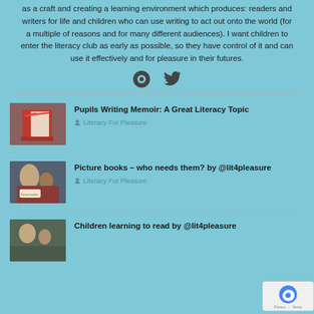as a craft and creating a learning environment which produces: readers and writers for life and children who can use writing to act out onto the world (for a multiple of reasons and for many different audiences). I want children to enter the literacy club as early as possible, so they have control of it and can use it effectively and for pleasure in their futures.
[Figure (illustration): Social share icons: a circular website/link icon and a Twitter bird icon]
[Figure (photo): A red notebook/diary with a red pen on top, on a wooden surface]
Pupils Writing Memoir: A Great Literacy Topic
Literacy For Pleasure
[Figure (photo): An adult and child looking at a picture book together]
Picture books – who needs them? by @lit4pleasure
Literacy For Pleasure
[Figure (photo): Children learning to read, partial view]
Children learning to read by @lit4pleasure